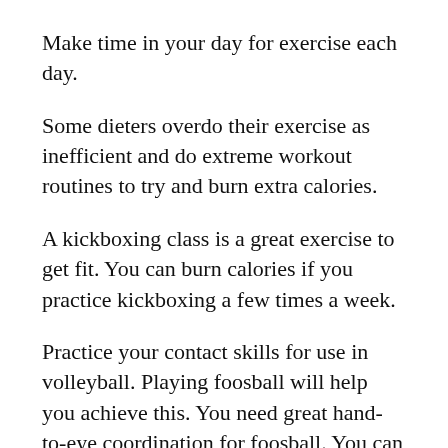Make time in your day for exercise each day.
Some dieters overdo their exercise as inefficient and do extreme workout routines to try and burn extra calories.
A kickboxing class is a great exercise to get fit. You can burn calories if you practice kickboxing a few times a week.
Practice your contact skills for use in volleyball. Playing foosball will help you achieve this. You need great hand-to-eye coordination for foosball. You can use these skills in volleyball through foosball.
Many people are of the thought that daily abdominal